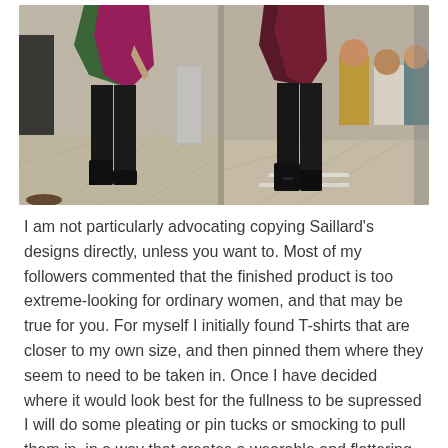[Figure (photo): Two side-by-side fashion runway photos showing models from the waist down wearing black skinny pants and black ankle boots. Left model wears a colorful draped top (green and magenta/pink). Right model wears a dark burgundy/maroon draped top. Background shows audience and venue interior.]
I am not particularly advocating copying Saillard's designs directly, unless you want to. Most of my followers commented that the finished product is too extreme-looking for ordinary women, and that may be true for you. For myself I initially found T-shirts that are closer to my own size, and then pinned them where they seem to need to be taken in. Once I have decided where it would look best for the fullness to be supressed I will do some pleating or pin tucks or smocking to pull them in, in a way that creates a wearable and flattering look.